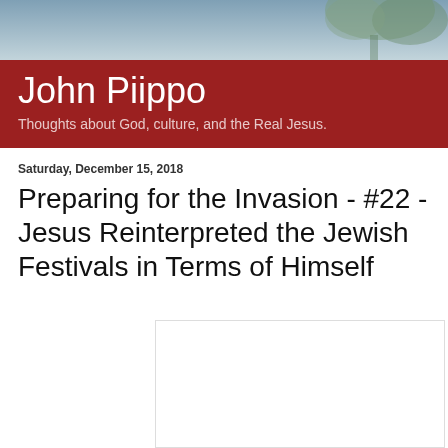[Figure (photo): Outdoor nature/tree photo used as blog header background]
John Piippo
Thoughts about God, culture, and the Real Jesus.
Saturday, December 15, 2018
Preparing for the Invasion - #22 - Jesus Reinterpreted the Jewish Festivals in Terms of Himself
[Figure (other): Embedded image placeholder (white box with border)]